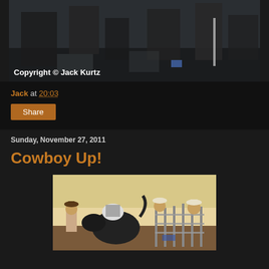[Figure (photo): Overhead/ground-level photograph of people standing at what appears to be an outdoor event, dark clothing visible, with copyright watermark overlay]
Copyright © Jack Kurtz
Jack at 20:03
Share
Sunday, November 27, 2011
Cowboy Up!
[Figure (photo): Rodeo photograph showing a bull bucking with a rider, cowboys and handlers visible in background near metal fencing pens]